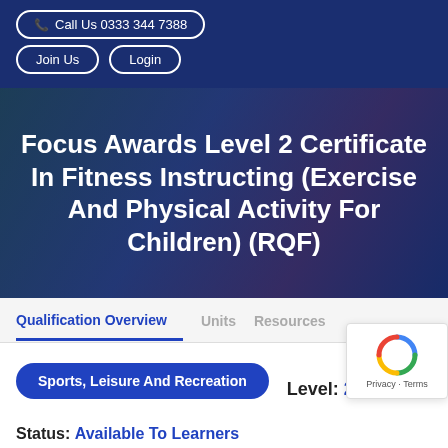Call Us 0333 344 7388
Join Us  Login
Focus Awards Level 2 Certificate In Fitness Instructing (Exercise And Physical Activity For Children) (RQF)
Qualification Overview  Units  Resources
Sports, Leisure And Recreation   Level: 2
Status: Available To Learners